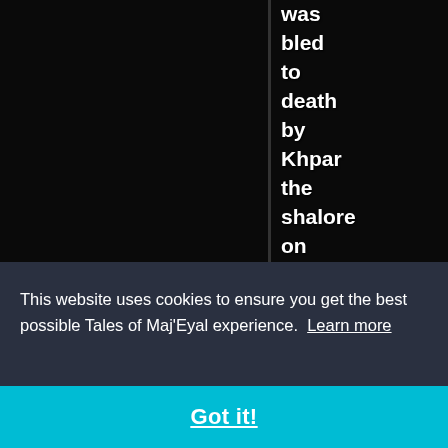[Figure (screenshot): Dark game screenshot background with vertical divider line, mostly black background representing a dungeon game interface]
was bled to death by Khpar the shalore on level 1 of Ambush!.
This website uses cookies to ensure you get the best possible Tales of Maj'Eyal experience. Learn more
Got it!